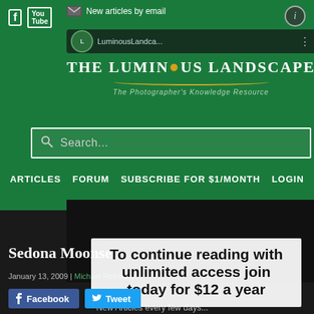[Figure (screenshot): The Luminous Landscape website screenshot showing green header with logo, social icons, YouTube channel notification bar, search box, navigation bar, article title 'Sedona Moonset', and overlay prompt to subscribe.]
New articles by email
LuminousLandca...
The Luminous Landscape
The Photographer's Knowledge Resource
Search...
ARTICLES   FORUM   SUBSCRIBE FOR $1/MONTH   LOGIN
Sedona Moonset
January 13, 2009 | Michael Reichmann
To continue reading with unlimited access join today for $12 a year
Facebook
Tweet